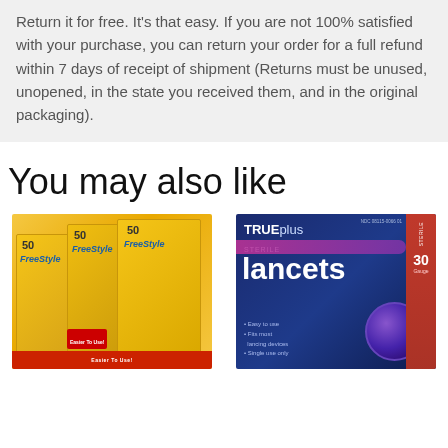Return it for free. It's that easy. If you are not 100% satisfied with your purchase, you can return your order for a full refund within 7 days of receipt of shipment (Returns must be unused, unopened, in the state you received them, and in the original packaging).
You may also like
[Figure (photo): Multiple yellow FreeStyle test strip boxes stacked, each showing '50' count and butterfly logo]
[Figure (photo): TRUEplus Sterile Lancets box, dark navy blue with white and pink text, 30 gauge lancets]